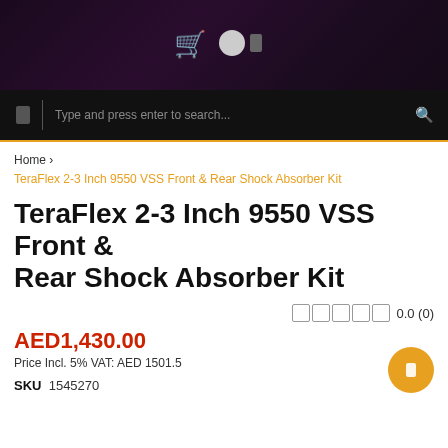[Figure (screenshot): E-commerce website top navigation header with dark purple/black gradient background, showing a shopping cart icon in orange/gold, a circle icon, and a small rectangle icon centered.]
[Figure (screenshot): Black navigation/search bar with a small rectangle menu icon on the left, a vertical divider, placeholder text 'Type and press enter to search...' in the center, and a search icon on the right. Bottom bordered with orange/gold line.]
Home › TeraFlex 2-3 Inch 9550 VSS Front & Rear Shock Absorber Kit
TeraFlex 2-3 Inch 9550 VSS Front & Rear Shock Absorber Kit
0.0 (0)
AED1,430.00
Price Incl. 5% VAT: AED 1501.5
SKU  1545270